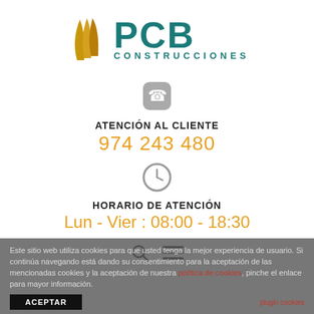[Figure (logo): PCB Construcciones logo with golden angular shapes on left and teal PCB text with CONSTRUCCIONES subtitle]
[Figure (illustration): Gray rounded square phone icon]
ATENCIÓN AL CLIENTE
974 243 480
[Figure (illustration): Gray circle clock icon]
HORARIO DE ATENCIÓN
Lun - Vier : 08:00 - 18:30
[Figure (illustration): Search (magnifying glass) and hamburger menu icons]
Este sitio web utiliza cookies para que usted tenga la mejor experiencia de usuario. Si continúa navegando está dando su consentimiento para la aceptación de las mencionadas cookies y la aceptación de nuestra política de cookies, pinche el enlace para mayor información.
plugin cookies
ACEPTAR